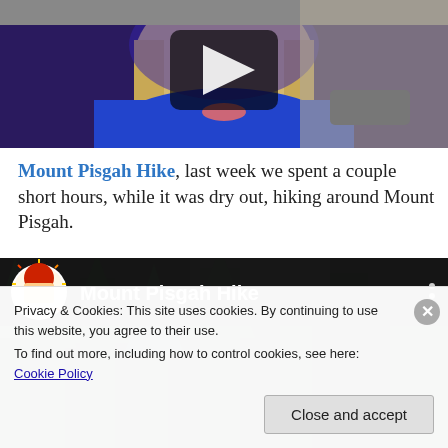[Figure (photo): Video thumbnail showing a blonde woman in a blue/purple fur coat with a play button overlay, outdoors under a bridge]
Mount Pisgah Hike, last week we spent a couple short hours, while it was dry out, hiking around Mount Pisgah.
[Figure (screenshot): YouTube video embed header showing 'Mount Pisgah Hike' title with channel avatar (cartoon Mario-style character) and forest background]
Privacy & Cookies: This site uses cookies. By continuing to use this website, you agree to their use.
To find out more, including how to control cookies, see here: Cookie Policy
Close and accept